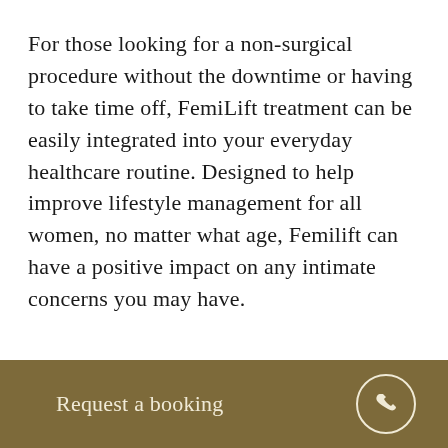For those looking for a non-surgical procedure without the downtime or having to take time off, FemiLift treatment can be easily integrated into your everyday healthcare routine. Designed to help improve lifestyle management for all women, no matter what age, Femilift can have a positive impact on any intimate concerns you may have.
Request a booking